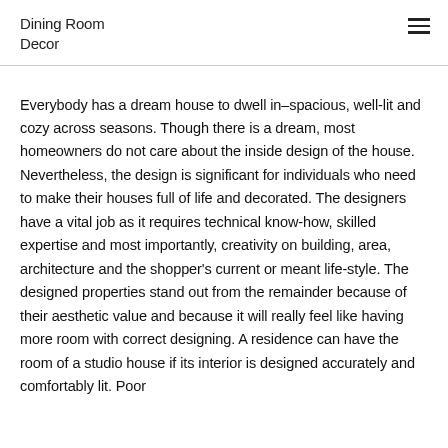Dining Room Decor
Everybody has a dream house to dwell in–spacious, well-lit and cozy across seasons. Though there is a dream, most homeowners do not care about the inside design of the house. Nevertheless, the design is significant for individuals who need to make their houses full of life and decorated. The designers have a vital job as it requires technical know-how, skilled expertise and most importantly, creativity on building, area, architecture and the shopper's current or meant life-style. The designed properties stand out from the remainder because of their aesthetic value and because it will really feel like having more room with correct designing. A residence can have the room of a studio house if its interior is designed accurately and comfortably lit. Poor